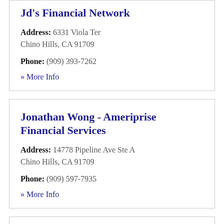Jd's Financial Network
Address: 6331 Viola Ter Chino Hills, CA 91709
Phone: (909) 393-7262
» More Info
Jonathan Wong - Ameriprise Financial Services
Address: 14778 Pipeline Ave Ste A Chino Hills, CA 91709
Phone: (909) 597-7935
» More Info
Kms Financial